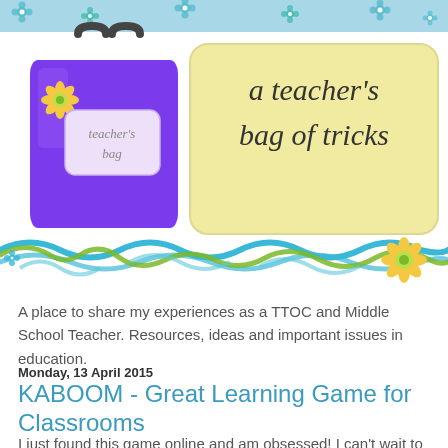[Figure (illustration): Blog header graphic for 'a teacher's bag of tricks' showing a purple shopping bag labeled 'teacher's bag' with yellow flower decoration, curling ribbons in teal and green at bottom, scattered teal flower decorations on light blue banner, and a yellow sign reading 'a teacher's bag of tricks' in handwritten-style font]
A place to share my experiences as a TTOC and Middle School Teacher. Resources, ideas and important issues in education.
Monday, 13 April 2015
KABOOM - Great Learning Game for Classrooms
I just found this game online and am obsessed! I can't wait to